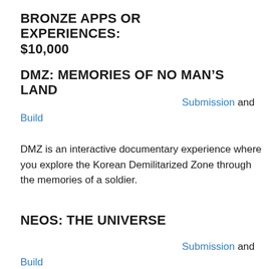BRONZE APPS OR EXPERIENCES: $10,000
DMZ: MEMORIES OF NO MAN'S LAND
Submission and Build
DMZ is an interactive documentary experience where you explore the Korean Demilitarized Zone through the memories of a soldier.
NEOS: THE UNIVERSE
Submission and Build